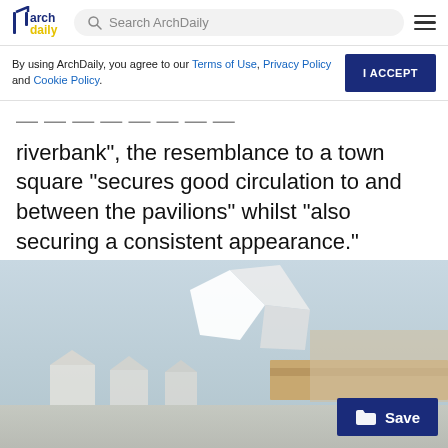ArchDaily - Search ArchDaily navigation
By using ArchDaily, you agree to our Terms of Use, Privacy Policy and Cookie Policy.
riverbank", the resemblance to a town square "secures good circulation to and between the pavilions" whilst "also securing a consistent appearance."
[Figure (photo): Architectural rendering of modern pavilion buildings with angular white rooflines, warm wooden canopy, against a light grey sky. A 'Save' button overlay appears in the bottom right.]
Home | Projects | Products | Folders | Feed